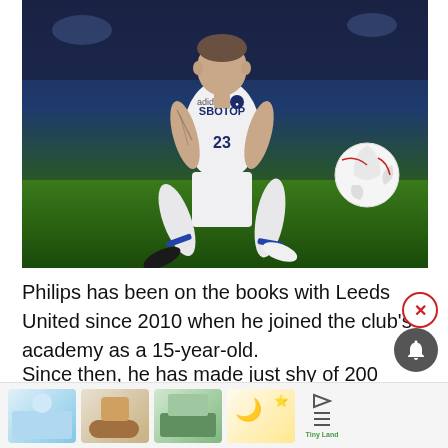[Figure (photo): A footballer wearing a white Leeds United kit with number 23 and SBOTOP sponsor, in a dynamic low stance about to play the ball, on a grass pitch at night]
Philips has been on the books with Leeds United since 2010 when he joined the club's academy as a 15-year-old.
Since then, he has made just shy of 200 appearances for the club, scoring 12 goals from the base of midfield
[Figure (screenshot): Advertisement bar at bottom with four product thumbnail images and a Tiny Land logo]